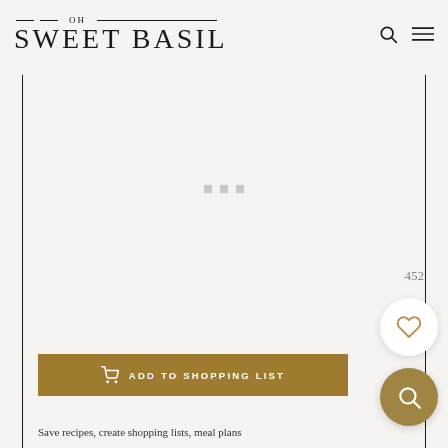OH SWEET BASIL
[Figure (screenshot): Loading placeholder with three small grey square dots in a content area bordered by vertical black lines]
452
[Figure (illustration): White circular button with a heart icon (favourite/save)]
[Figure (illustration): Gold/tan circular button with a search/magnify icon]
ADD TO SHOPPING LIST
Save recipes, create shopping lists, meal plans